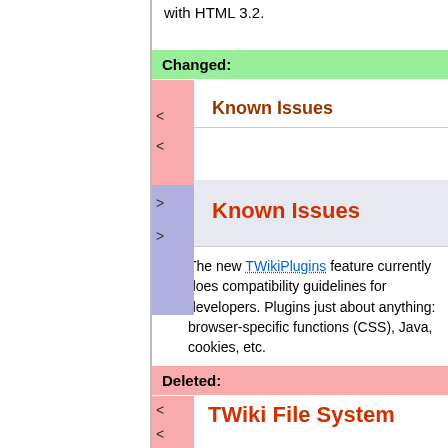with HTML 3.2.
Changed:
Known Issues
Known Issues
The new TWikiPlugins feature currently does compatibility guidelines for developers. Plugins just about anything: browser-specific functions (CSS), Java, cookies, etc.
Deleted:
TWiki File System
You can rename the root TWiki directory: twiki